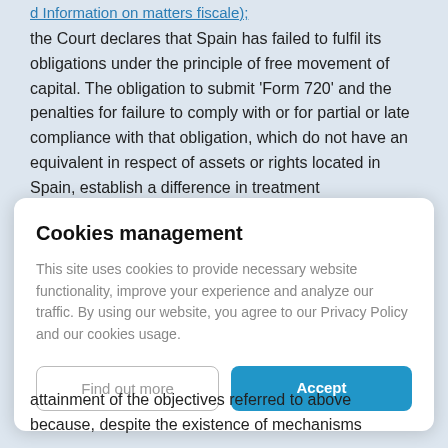d Information on matters fiscale):
the Court declares that Spain has failed to fulfil its obligations under the principle of free movement of capital. The obligation to submit 'Form 720' and the penalties for failure to comply with or for partial or late compliance with that obligation, which do not have an equivalent in respect of assets or rights located in Spain, establish a difference in treatment
Cookies management
This site uses cookies to provide necessary website functionality, improve your experience and analyze our traffic. By using our website, you agree to our Privacy Policy and our cookies usage.
Find out more
Accept
attainment of the objectives referred to above because, despite the existence of mechanisms